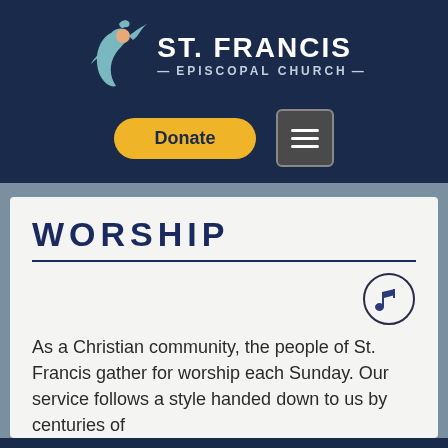[Figure (logo): St. Francis Episcopal Church logo with stylized figure and dove]
[Figure (other): Donate button (yellow pill-shaped) and hamburger menu button]
WORSHIP
[Figure (illustration): Musical note icon inside a circle]
As a Christian community, the people of St. Francis gather for worship each Sunday. Our service follows a style handed down to us by centuries of